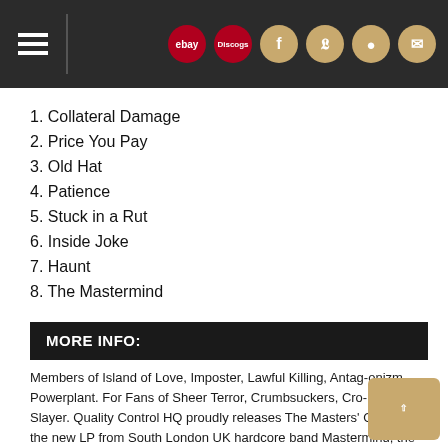Navigation bar with hamburger menu and social icons: ebay, Discogs, Facebook, Twitter, Instagram, Email
1. Collateral Damage
2. Price You Pay
3. Old Hat
4. Patience
5. Stuck in a Rut
6. Inside Joke
7. Haunt
8. The Mastermind
MORE INFO:
Members of Island of Love, Imposter, Lawful Killing, Antag-onizm, Powerplant. For Fans of Sheer Terror, Crumbsuckers, Cro-Mags, Slayer. Quality Control HQ proudly releases The Masters' Orders, the new LP from South London UK hardcore band Mastermind, the jewel in the crown of UKHC. This is the band's third release after 2019's Bad Reaction EP and comes on the heels of recently released single "Price You Pay". The new release, which was recorded at East London's most vibrant independent music hub, Fuzzbrain Studios, finds Mastermind